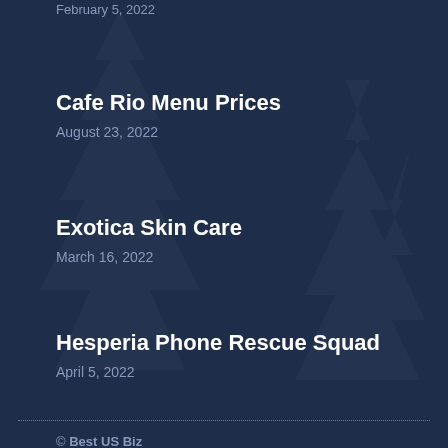February 5, 2022
Cafe Rio Menu Prices
August 23, 2022
Exotica Skin Care
March 16, 2022
Hesperia Phone Rescue Squad
April 5, 2022
© Best US Biz
Made with ❤ Citation Vault